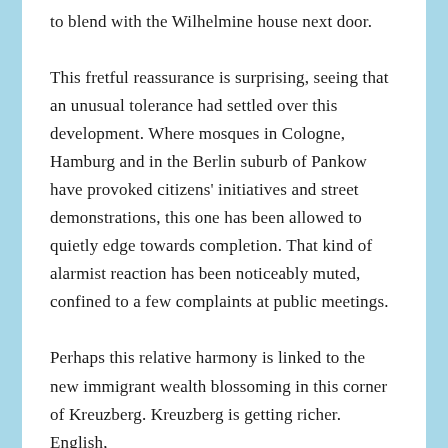to blend with the Wilhelmine house next door.
This fretful reassurance is surprising, seeing that an unusual tolerance had settled over this development. Where mosques in Cologne, Hamburg and in the Berlin suburb of Pankow have provoked citizens' initiatives and street demonstrations, this one has been allowed to quietly edge towards completion. That kind of alarmist reaction has been noticeably muted, confined to a few complaints at public meetings.
Perhaps this relative harmony is linked to the new immigrant wealth blossoming in this corner of Kreuzberg. Kreuzberg is getting richer. English,